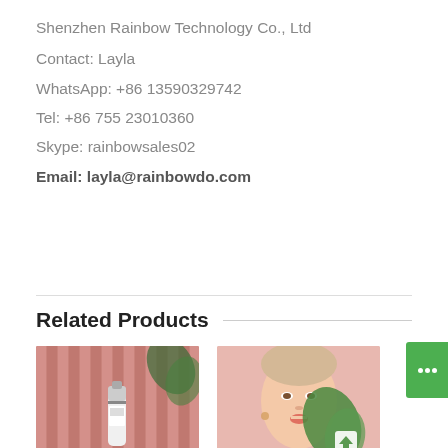Shenzhen Rainbow Technology Co., Ltd
Contact: Layla
WhatsApp: +86 13590329742
Tel: +86 755 23010360
Skype: rainbowsales02
Email: layla@rainbowdo.com
Related Products
[Figure (photo): Product photo on pink background with vertical ridged panel and a white/black bottle or tube]
[Figure (photo): Woman's face on pink background with a green leaf graphic overlay and an upward arrow icon]